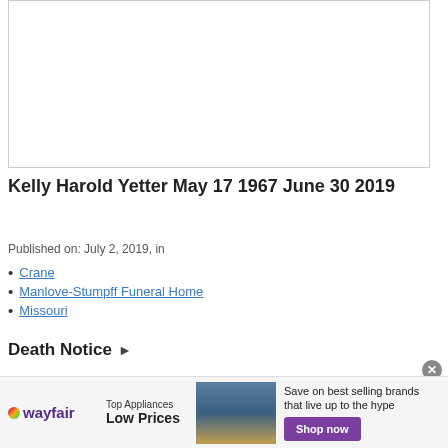[Figure (photo): Top photo placeholder area, white with border]
Kelly Harold Yetter May 17 1967 June 30 2019
Published on: July 2, 2019, in
Crane
Manlove-Stumpff Funeral Home
Missouri
Death Notice ▶
[Figure (photo): Bottom partial photo showing dark brown/maroon background, appears to be top of a person's head]
[Figure (other): Wayfair advertisement banner at bottom: Top Appliances Low Prices, Save on best selling brands that live up to the hype, Shop now button]